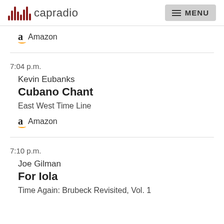capradio  MENU
Amazon
7:04 p.m.
Kevin Eubanks
Cubano Chant
East West Time Line
Amazon
7:10 p.m.
Joe Gilman
For Iola
Time Again: Brubeck Revisited, Vol. 1